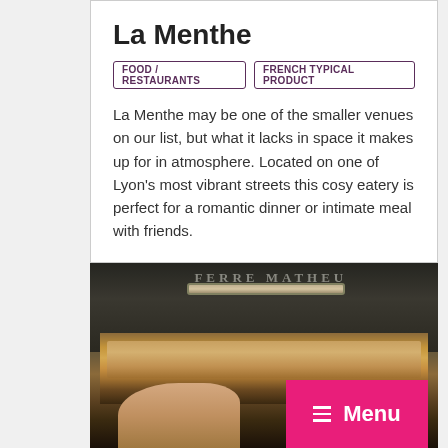La Menthe
FOOD / RESTAURANTS
FRENCH TYPICAL PRODUCT
La Menthe may be one of the smaller venues on our list, but what it lacks in space it makes up for in atmosphere. Located on one of Lyon's most vibrant streets this cosy eatery is perfect for a romantic dinner or intimate meal with friends.
15 Rue Mercière, 69002
[Figure (photo): Photo of a traditional stone/cast iron oven (branded FERRE MATHEU) with bread and pastries baking inside, and a hand reaching in from the bottom left.]